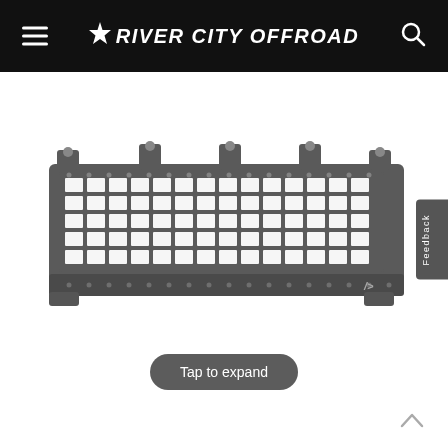River City Offroad
[Figure (photo): Metal off-road truck grille/mesh panel with mounting brackets on top, grid pattern openings, and rivets along edges. Dark gray/black powder coat finish with manufacturer logo on lower right.]
Tap to expand